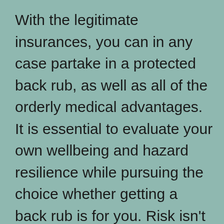With the legitimate insurances, you can in any case partake in a protected back rub, as well as all of the orderly medical advantages. It is essential to evaluate your own wellbeing and hazard resilience while pursuing the choice whether getting a back rub is for you. Risk isn't really impacted by what sort of back rub you get – however somebody who gets more serious back rubs is most likely going to be breathing harder and perspiring, nearer to what takes a chance with somebody could insight at a rec center.
It is not difficult to perceive how back rub could